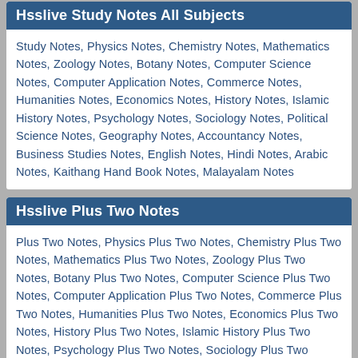Hsslive Study Notes All Subjects
Study Notes, Physics Notes, Chemistry Notes, Mathematics Notes, Zoology Notes, Botany Notes, Computer Science Notes, Computer Application Notes, Commerce Notes, Humanities Notes, Economics Notes, History Notes, Islamic History Notes, Psychology Notes, Sociology Notes, Political Science Notes, Geography Notes, Accountancy Notes, Business Studies Notes, English Notes, Hindi Notes, Arabic Notes, Kaithang Hand Book Notes, Malayalam Notes
Hsslive Plus Two Notes
Plus Two Notes, Physics Plus Two Notes, Chemistry Plus Two Notes, Mathematics Plus Two Notes, Zoology Plus Two Notes, Botany Plus Two Notes, Computer Science Plus Two Notes, Computer Application Plus Two Notes, Commerce Plus Two Notes, Humanities Plus Two Notes, Economics Plus Two Notes, History Plus Two Notes, Islamic History Plus Two Notes, Psychology Plus Two Notes, Sociology Plus Two Notes, Political Science Plus Two Notes, Geography Plus Two Notes, Accountancy Plus Two Notes, Business Studies Plus Two Notes, English Plus Two Notes, Hindi Plus Two Notes, Arabic Plus Two Notes, , Malayalam Plus Two Notes
Hsslive Plus One Notes